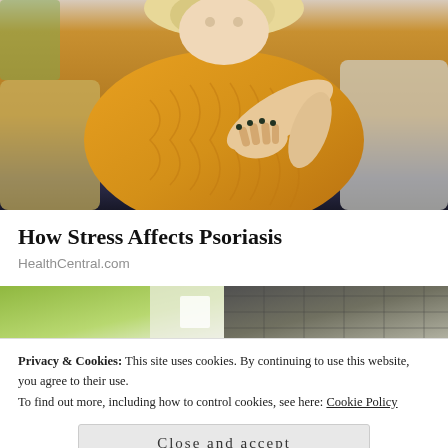[Figure (photo): Woman in yellow knit sweater sitting on a couch, holding and examining her elbow, possibly checking for a skin condition like psoriasis.]
How Stress Affects Psoriasis
HealthCentral.com
[Figure (photo): Two thumbnail images side by side: left shows a green and white image, right shows a dark textured surface.]
Privacy & Cookies: This site uses cookies. By continuing to use this website, you agree to their use.
To find out more, including how to control cookies, see here: Cookie Policy
Close and accept
[Figure (photo): Two thumbnail images at the bottom: left shows a green garden-like scene, right shows a warm-toned and dark toned split image.]